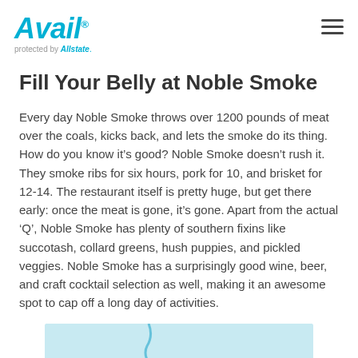Avail protected by Allstate
Fill Your Belly at Noble Smoke
Every day Noble Smoke throws over 1200 pounds of meat over the coals, kicks back, and lets the smoke do its thing. How do you know it’s good? Noble Smoke doesn’t rush it. They smoke ribs for six hours, pork for 10, and brisket for 12-14. The restaurant itself is pretty huge, but get there early: once the meat is gone, it’s gone. Apart from the actual ‘Q’, Noble Smoke has plenty of southern fixins like succotash, collard greens, hush puppies, and pickled veggies. Noble Smoke has a surprisingly good wine, beer, and craft cocktail selection as well, making it an awesome spot to cap off a long day of activities.
[Figure (map): Partial map preview at bottom of page]